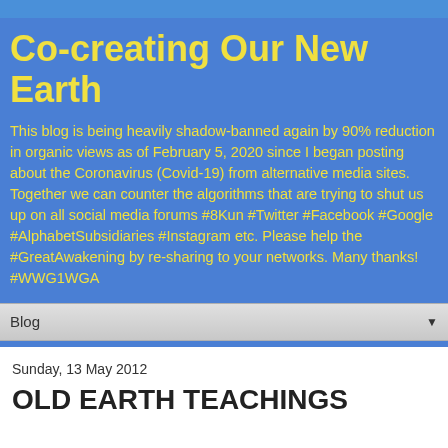Co-creating Our New Earth
This blog is being heavily shadow-banned again by 90% reduction in organic views as of February 5, 2020 since I began posting about the Coronavirus (Covid-19) from alternative media sites. Together we can counter the algorithms that are trying to shut us up on all social media forums #8Kun #Twitter #Facebook #Google #AlphabetSubsidiaries #Instagram etc. Please help the #GreatAwakening by re-sharing to your networks. Many thanks! #WWG1WGA
Blog
Sunday, 13 May 2012
OLD EARTH TEACHINGS